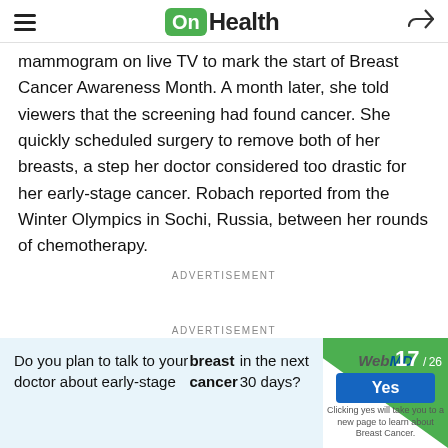OnHealth
mammogram on live TV to mark the start of Breast Cancer Awareness Month. A month later, she told viewers that the screening had found cancer. She quickly scheduled surgery to remove both of her breasts, a step her doctor considered too drastic for her early-stage cancer. Robach reported from the Winter Olympics in Sochi, Russia, between her rounds of chemotherapy.
ADVERTISEMENT
ADVERTISEMENT
Do you plan to talk to your doctor about early-stage breast cancer in the next 30 days?
[Figure (other): WebMD advertisement widget with Yes button and slide counter 17/26]